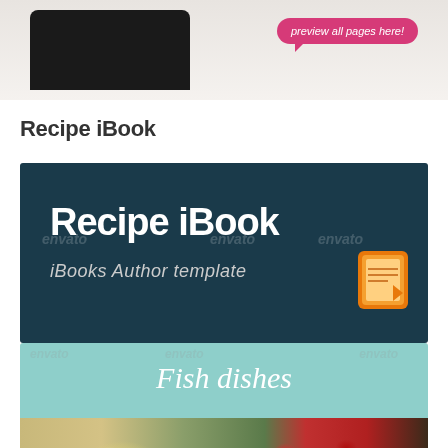[Figure (screenshot): Top banner showing a preview with a pink speech bubble saying 'preview all pages here!']
Recipe iBook
[Figure (screenshot): Recipe iBook banner with dark teal background showing 'Recipe iBook' title and 'iBooks Author template' subtitle with iBooks icon]
[Figure (screenshot): Preview of Recipe iBook page showing 'Fish dishes' heading on teal background and food photography below]